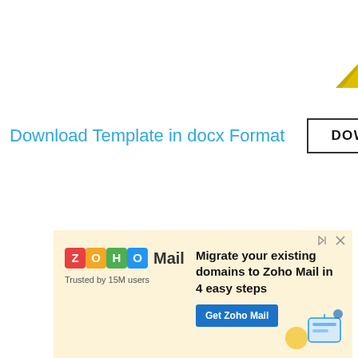Download Template in docx Format
DOWNLOAD
[Figure (infographic): Zoho Mail advertisement banner with logo, headline 'Migrate your existing domains to Zoho Mail in 4 easy steps', and a 'Get Zoho Mail' call-to-action button on a cream/yellow background.]